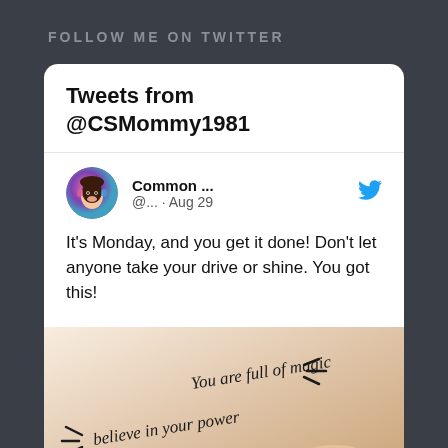FOLLOW ME ON TWITTER
Tweets from @CSMommy1981
Common ... @... · Aug 29
It's Monday, and you get it done! Don't let anyone take your drive or shine. You got this!
[Figure (photo): Image with text 'You are full of magic' and 'believe in your power' written in cursive over a blurred background with a coffee cup with a heart latte art]